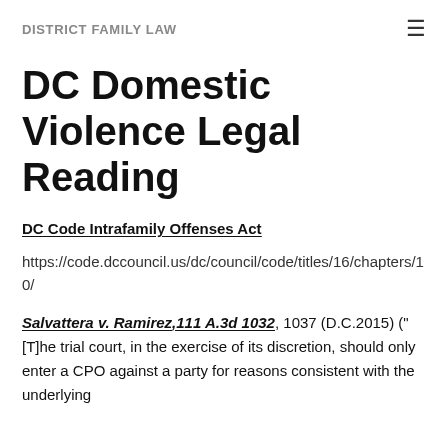DISTRICT FAMILY LAW
DC Domestic Violence Legal Reading
DC Code Intrafamily Offenses Act
https://code.dccouncil.us/dc/council/code/titles/16/chapters/10/
Salvattera v. Ramirez, 111 A.3d 1032, 1037 (D.C.2015) ("[T]he trial court, in the exercise of its discretion, should only enter a CPO against a party for reasons consistent with the underlying